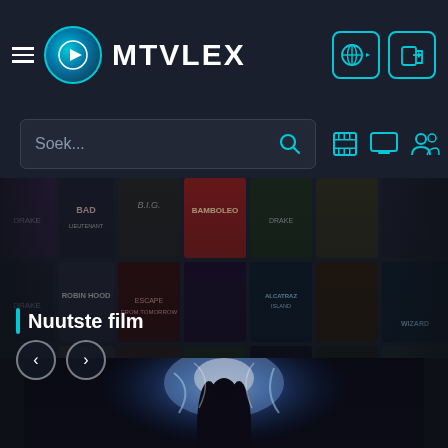MTVLEX
Soek...
[Figure (screenshot): MTVLEX streaming website homepage showing a grid of movie/music poster thumbnails including Drake, BAD, B.I.G., Bamboleo and other titles in a dark-themed interface]
Nuutste film
[Figure (photo): Bottom preview showing a character with blue/white energy effects, partially visible at the bottom of the page]